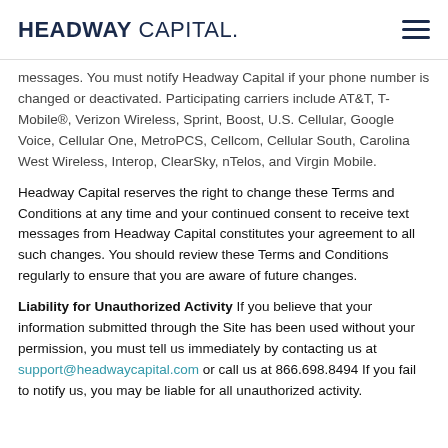HEADWAY CAPITAL.
messages. You must notify Headway Capital if your phone number is changed or deactivated. Participating carriers include AT&T, T-Mobile®, Verizon Wireless, Sprint, Boost, U.S. Cellular, Google Voice, Cellular One, MetroPCS, Cellcom, Cellular South, Carolina West Wireless, Interop, ClearSky, nTelos, and Virgin Mobile.
Headway Capital reserves the right to change these Terms and Conditions at any time and your continued consent to receive text messages from Headway Capital constitutes your agreement to all such changes. You should review these Terms and Conditions regularly to ensure that you are aware of future changes.
Liability for Unauthorized Activity If you believe that your information submitted through the Site has been used without your permission, you must tell us immediately by contacting us at support@headwaycapital.com or call us at 866.698.8494 If you fail to notify us, you may be liable for all unauthorized activity.